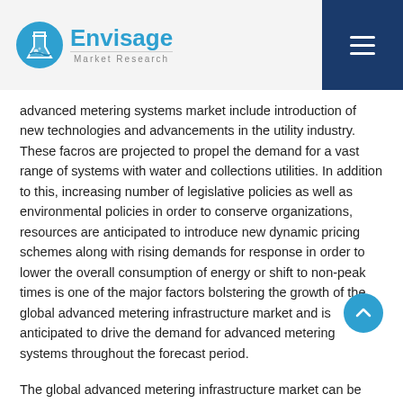Envisage Market Research
advanced metering systems market include introduction of new technologies and advancements in the utility industry. These facros are projected to propel the demand for a vast range of systems with water and collections utilities. In addition to this, increasing number of legislative policies as well as environmental policies in order to conserve organizations, resources are anticipated to introduce new dynamic pricing schemes along with rising demands for response in order to lower the overall consumption of energy or shift to non-peak times is one of the major factors bolstering the growth of the global advanced metering infrastructure market and is anticipated to drive the demand for advanced metering systems throughout the forecast period.
The global advanced metering infrastructure market can be classified based on service, device, solution and region. Based on device, the global advanced metering infrastructure